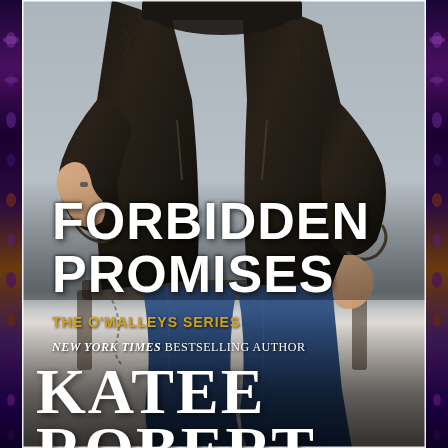[Figure (illustration): Book cover for 'Forbidden Promises' from The O'Malleys Series by Katee Robert. A man in a worn dark leather jacket sits in a chair, one hand raised near his chin with a ring visible on his finger, the other resting on his knee. He wears jeans. The background is light gray. Decorative butterfly/floral border strips run along the left and right edges in deep purple and orange tones.]
FORBIDDEN PROMISES
THE O'MALLEYS SERIES
NEW YORK TIMES BESTSELLING AUTHOR
KATEE ROBERT